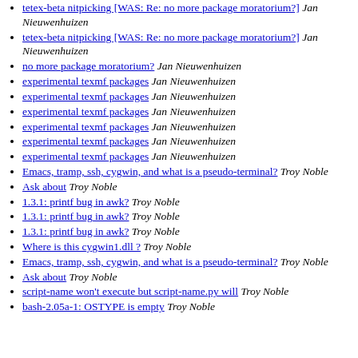tetex-beta nitpicking [WAS: Re: no more package moratorium?]  Jan Nieuwenhuizen
tetex-beta nitpicking [WAS: Re: no more package moratorium?]  Jan Nieuwenhuizen
no more package moratorium?  Jan Nieuwenhuizen
experimental texmf packages  Jan Nieuwenhuizen
experimental texmf packages  Jan Nieuwenhuizen
experimental texmf packages  Jan Nieuwenhuizen
experimental texmf packages  Jan Nieuwenhuizen
experimental texmf packages  Jan Nieuwenhuizen
experimental texmf packages  Jan Nieuwenhuizen
Emacs, tramp, ssh, cygwin, and what is a pseudo-terminal?  Troy Noble
Ask about  Troy Noble
1.3.1: printf bug in awk?  Troy Noble
1.3.1: printf bug in awk?  Troy Noble
1.3.1: printf bug in awk?  Troy Noble
Where is this cygwin1.dll ?  Troy Noble
Emacs, tramp, ssh, cygwin, and what is a pseudo-terminal?  Troy Noble
Ask about  Troy Noble
script-name won't execute but script-name.py will  Troy Noble
bash-2.05a-1: OSTYPE is empty  Troy Noble